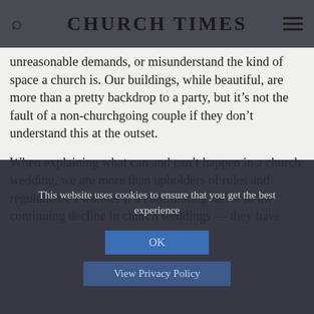CHURCH TIMES
unreasonable demands, or misunderstand the kind of space a church is. Our buildings, while beautiful, are more than a pretty backdrop to a party, but it's not the fault of a non-churchgoing couple if they don't understand this at the outset.

When explaining what can and can't happen in a church wedding, we are more than upholders of rules and regulations. I wonder if a contributing factor to the continuing decline in church weddings — they have
This website uses cookies to ensure that you get the best experience
OK
View Privacy Policy